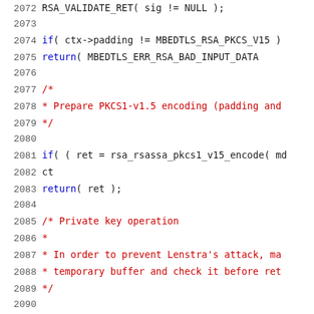[Figure (screenshot): Source code listing showing C code lines 2072-2093 from an RSA cryptography implementation, with line numbers in gray on the left, keywords in blue, and comments in red.]